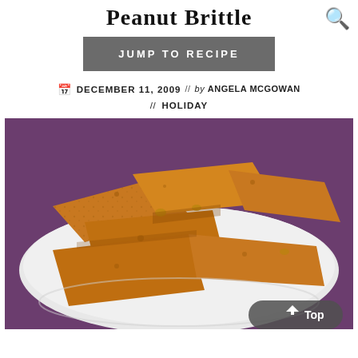Peanut Brittle
JUMP TO RECIPE
DECEMBER 11, 2009  //  by ANGELA MCGOWAN  //  HOLIDAY
[Figure (photo): Pieces of golden-brown peanut brittle stacked on a white plate against a dark purple background, with a 'Top' navigation button overlay in the bottom right.]